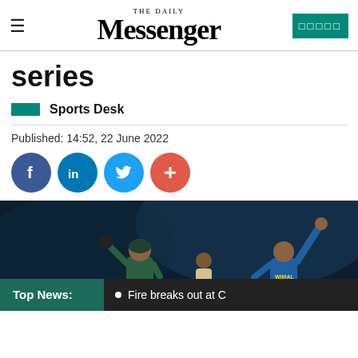THE DAILY Messenger
series
Sports Desk
Published: 14:52, 22 June 2022
[Figure (photo): Cricket players on field, one player in blue uniform with arm raised, another player in background, dark stadium lighting]
Top News:  Fire breaks out at C